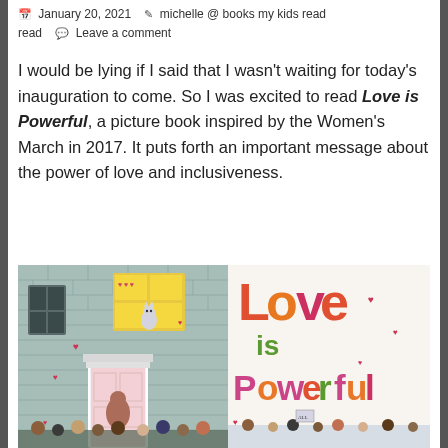January 20, 2021   michelle @ books my kids read   Leave a comment
I would be lying if I said that I wasn't waiting for today's inauguration to come. So I was excited to read Love is Powerful, a picture book inspired by the Women's March in 2017. It puts forth an important message about the power of love and inclusiveness.
[Figure (illustration): Book cover of 'Love is Powerful' showing a building illustration on the left side and colorful text 'Love is Powerful' on the right side with a cat in a window and people marching below.]